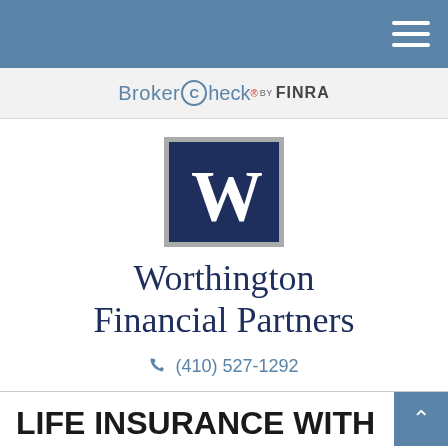BrokerCheck by FINRA
[Figure (logo): Worthington Financial Partners logo — dark navy square with white W letter]
Worthington Financial Partners
(410) 527-1292
LIFE INSURANCE WITH